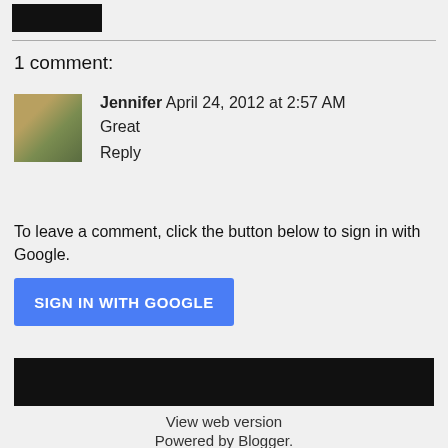[Figure (other): Black redacted rectangle at top left]
1 comment:
[Figure (photo): User avatar photo of Jennifer - woman with colorful hair accessories]
Jennifer April 24, 2012 at 2:57 AM
Great
Reply
To leave a comment, click the button below to sign in with Google.
[Figure (other): Blue button labeled SIGN IN WITH GOOGLE]
[Figure (other): Three black redacted rectangles in footer row]
View web version
Powered by Blogger.